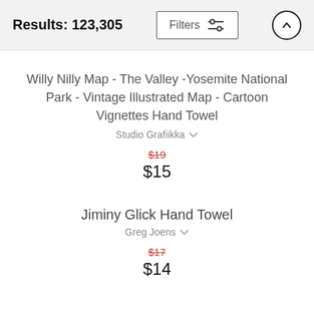Results: 123,305
Willy Nilly Map - The Valley -Yosemite National Park - Vintage Illustrated Map - Cartoon Vignettes Hand Towel
Studio Grafiikka
$19 $15
Jiminy Glick Hand Towel
Greg Joens
$17 $14